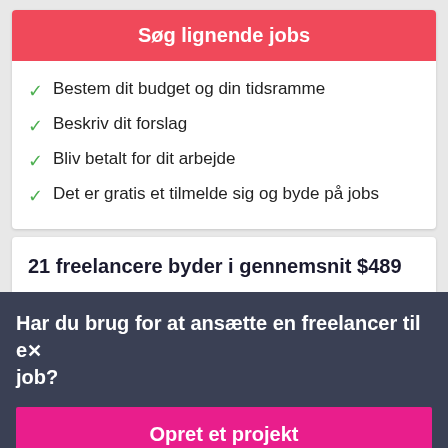Søg lignende jobs
Bestem dit budget og din tidsramme
Beskriv dit forslag
Bliv betalt for dit arbejde
Det er gratis et tilmelde sig og byde på jobs
21 freelancere byder i gennemsnit $489
Har du brug for at ansætte en freelancer til et job?
Opret et projekt